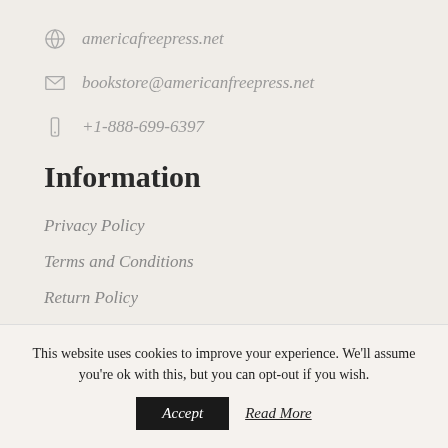americafreepress.net
bookstore@americanfreepress.net
+1-888-699-6397
Information
Privacy Policy
Terms and Conditions
Return Policy
This website uses cookies to improve your experience. We'll assume you're ok with this, but you can opt-out if you wish.
Accept
Read More